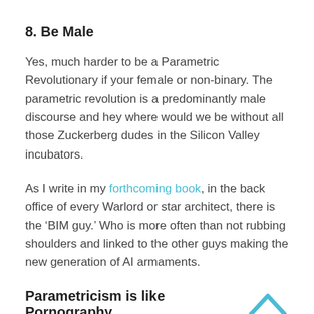8. Be Male
Yes, much harder to be a Parametric Revolutionary if your female or non-binary. The parametric revolution is a predominantly male discourse and hey where would we be without all those Zuckerberg dudes in the Silicon Valley incubators.
As I write in my forthcoming book, in the back office of every Warlord or star architect, there is the ‘BIM guy.’ Who is more often than not rubbing shoulders and linked to the other guys making the new generation of AI armaments.
Parametricism is like Pornography
The entire Parametric discourse the obsession with revolutionary fever, the big dick geo-solutions, the